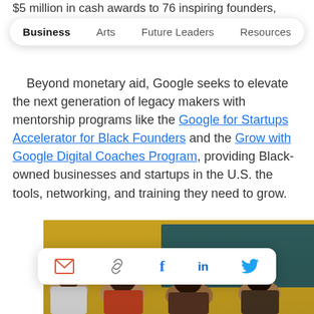$5 million in cash awards to 76 inspiring founders,
Business   Arts   Future Leaders   Resources
Beyond monetary aid, Google seeks to elevate the next generation of legacy makers with mentorship programs like the Google for Startups Accelerator for Black Founders and the Grow with Google Digital Coaches Program, providing Black-owned businesses and startups in the U.S. the tools, networking, and training they need to grow.
[Figure (photo): Photo of people sitting in a classroom or workshop setting, with a yellow/gold background wall and a dark chalkboard or presentation board visible. Multiple people are seated, viewed from behind/side angles.]
[Figure (infographic): Social sharing toolbar with icons for email, link/copy, Facebook, LinkedIn, and Twitter.]